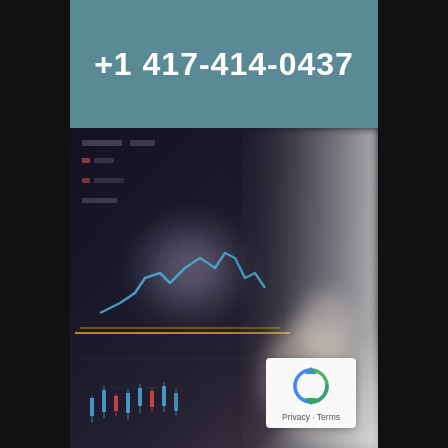+1 417-414-0437
[Figure (photo): Blurred stock market trading screen showing candlestick chart with blue and yellow lines, with a blurred hand holding a magnifier in the foreground on the right side]
Privacy · Terms